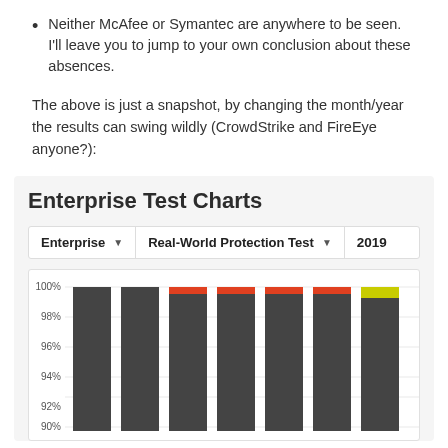Neither McAfee or Symantec are anywhere to be seen. I'll leave you to jump to your own conclusion about these absences.
The above is just a snapshot, by changing the month/year the results can swing wildly (CrowdStrike and FireEye anyone?):
[Figure (stacked-bar-chart): Enterprise Real-World Protection Test 2019 stacked bar chart showing protection percentages from approximately 90% to 100% for multiple vendors. Some bars show small red and yellow segments at the top.]